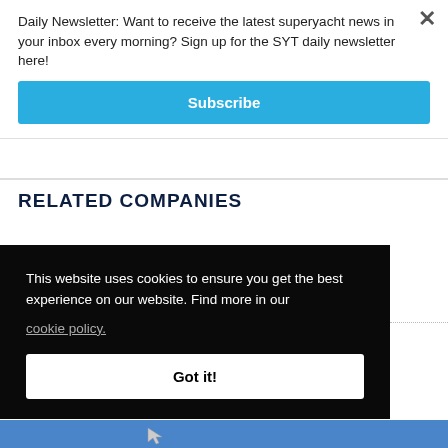Daily Newsletter: Want to receive the latest superyacht news in your inbox every morning? Sign up for the SYT daily newsletter here!
Subscribe
RELATED COMPANIES
[Figure (logo): Partially visible company logos, with swoosh graphic in center and CRISTIAN text visible on right side]
This website uses cookies to ensure you get the best experience on our website. Find more in our
cookie policy.
Got it!